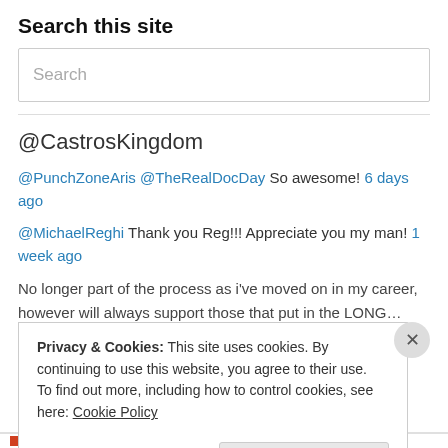Search this site
Search
@CastrosKingdom
@PunchZoneAris @TheRealDocDay So awesome! 6 days ago
@MichaelReghi Thank you Reg!!! Appreciate you my man! 1 week ago
No longer part of the process as i've moved on in my career, however will always support those that put in the LONG…
twitter.com/i/web/status/1… 1 week ago
Privacy & Cookies: This site uses cookies. By continuing to use this website, you agree to their use.
To find out more, including how to control cookies, see here: Cookie Policy
Close and accept